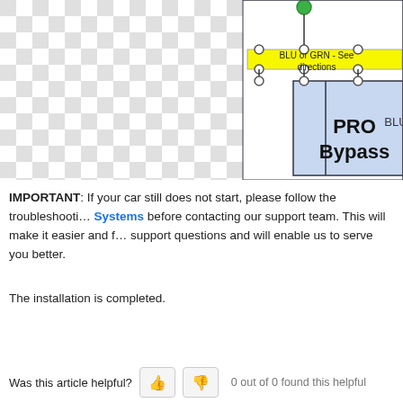[Figure (schematic): Partial wiring/schematic diagram showing a 'PRO Bypass' module box in light blue with connection nodes, yellow wire connector strip labeled 'BLU or GRN - See directions', a green filled circle node at top, and checkerboard background on the left side. 'BLU' text partially visible on right edge.]
IMPORTANT: If your car still does not start, please follow the troubleshooting Systems before contacting our support team. This will make it easier and faster to answer your support questions and will enable us to serve you better.
The installation is completed.
Was this article helpful? 0 out of 0 found this helpful